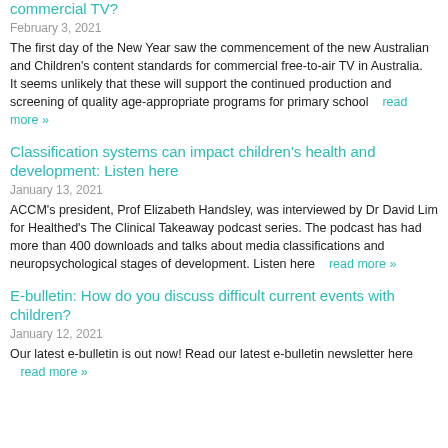commercial TV?
February 3, 2021
The first day of the New Year saw the commencement of the new Australian and Children's content standards for commercial free-to-air TV in Australia.    It seems unlikely that these will support the continued production and screening of quality age-appropriate programs for primary school    read more »
Classification systems can impact children's health and development: Listen here
January 13, 2021
ACCM's president, Prof Elizabeth Handsley, was interviewed by Dr David Lim for Healthed's The Clinical Takeaway podcast series. The podcast has had more than 400 downloads and talks about media classifications and neuropsychological stages of development. Listen here    read more »
E-bulletin: How do you discuss difficult current events with children?
January 12, 2021
Our latest e-bulletin is out now! Read our latest e-bulletin newsletter here    read more »